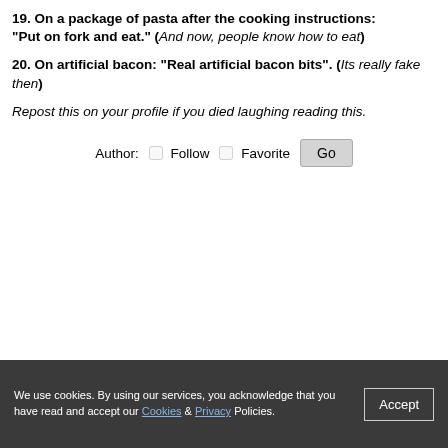19. On a package of pasta after the cooking instructions: "Put on fork and eat." (And now, people know how to eat)
20. On artificial bacon: "Real artificial bacon bits". (Its really fake then)
Repost this on your profile if you died laughing reading this.
Author: Follow Favorite Go
We use cookies. By using our services, you acknowledge that you have read and accept our Cookies & Privacy Policies. Accept